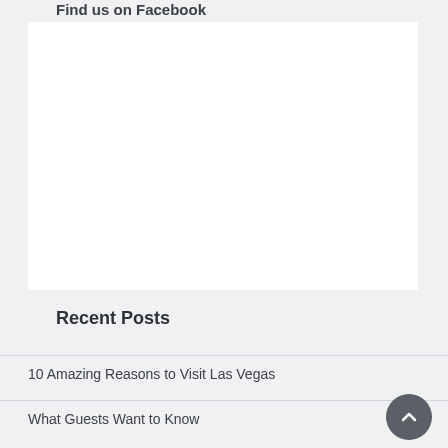Find us on Facebook
[Figure (other): White rectangular box representing a Facebook embedded widget/plugin placeholder]
Recent Posts
10 Amazing Reasons to Visit Las Vegas
What Guests Want to Know